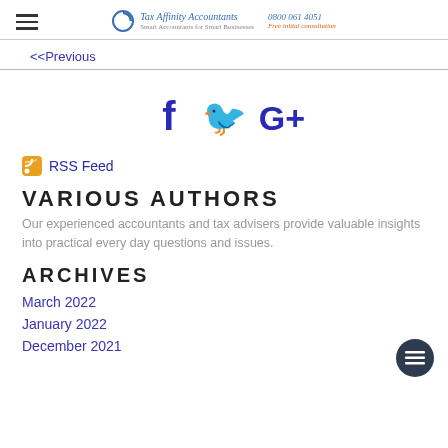Tax Affinity Accountants | 0800 061 4051 | Free initial consultation
<<Previous
[Figure (illustration): Social media icons: Facebook (f), Twitter (bird), Google+ (G+) in dark blue/indigo color]
RSS Feed
VARIOUS AUTHORS
Our experienced accountants and tax advisers provide valuable insights into practical every day questions and issues.
ARCHIVES
March 2022
January 2022
December 2021